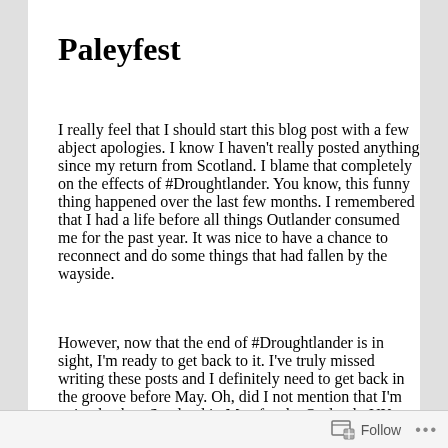Paleyfest
I really feel that I should start this blog post with a few abject apologies. I know I haven't really posted anything since my return from Scotland. I blame that completely on the effects of #Droughtlander. You know, this funny thing happened over the last few months. I remembered that I had a life before all things Outlander consumed me for the past year. It was nice to have a chance to reconnect and do some things that had fallen by the wayside.
However, now that the end of #Droughtlander is in sight, I'm ready to get back to it. I've truly missed writing these posts and I definitely need to get back in the groove before May. Oh, did I not mention that I'm going back to Scotland in May for the OutlanderUK Gathering and more? Don't worry, it will be fully covered! Not only will I blog it here on GreatScot, but I'll
Follow ...